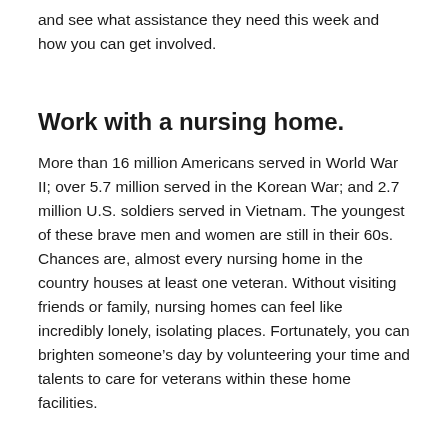and see what assistance they need this week and how you can get involved.
Work with a nursing home.
More than 16 million Americans served in World War II; over 5.7 million served in the Korean War; and 2.7 million U.S. soldiers served in Vietnam. The youngest of these brave men and women are still in their 60s. Chances are, almost every nursing home in the country houses at least one veteran. Without visiting friends or family, nursing homes can feel like incredibly lonely, isolating places. Fortunately, you can brighten someone's day by volunteering your time and talents to care for veterans within these home facilities.
Donate to organizations